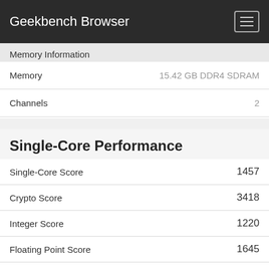Geekbench Browser
Memory Information
|  |  |
| --- | --- |
| Memory | 15.42 GB DDR4 SDRAM |
| Channels | 2 |
Single-Core Performance
|  |  |
| --- | --- |
| Single-Core Score | 1457 |
| Crypto Score | 3418 |
| Integer Score | 1220 |
| Floating Point Score | 1645 |
| AES-XTS | 3418
5.83 GB/sec |